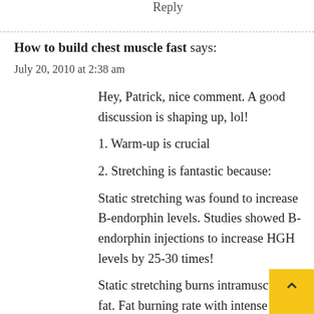Reply
How to build chest muscle fast says:
July 20, 2010 at 2:38 am
Hey, Patrick, nice comment. A good discussion is shaping up, lol!
1. Warm-up is crucial
2. Stretching is fantastic because:
Static stretching was found to increase B-endorphin levels. Studies showed B-endorphin injections to increase HGH levels by 25-30 times!
Static stretching burns intramuscular fat. Fat burning rate with intense stretching – up to 24 times faster than during aerob... That's why yoga and callanetics are so devastatingly effective.